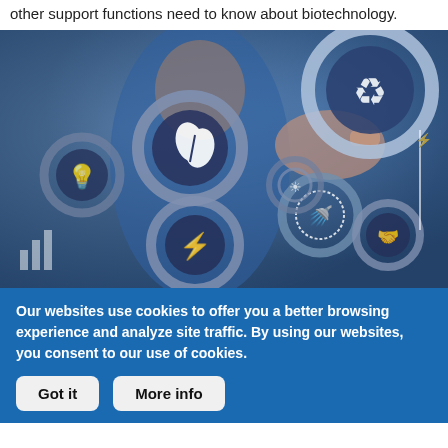other support functions need to know about biotechnology.
[Figure (photo): A person in a blue suit pointing at sustainability and green technology icons on gears, including recycling symbol, leaf/plant, lightbulb, energy, water tap, handshake, and wind turbine icons on a blurred blue background.]
Our websites use cookies to offer you a better browsing experience and analyze site traffic. By using our websites, you consent to our use of cookies.
Got it
More info